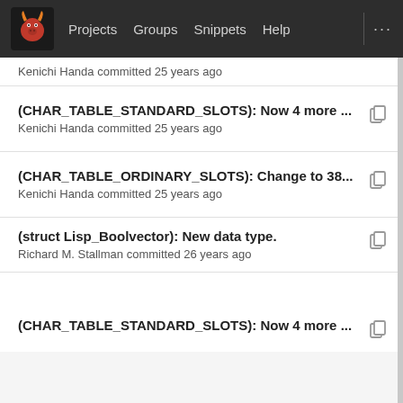Projects  Groups  Snippets  Help  ...
Kenichi Handa committed 25 years ago
(CHAR_TABLE_STANDARD_SLOTS): Now 4 more ...  Kenichi Handa committed 25 years ago
(CHAR_TABLE_ORDINARY_SLOTS): Change to 38...  Kenichi Handa committed 25 years ago
(struct Lisp_Boolvector): New data type.  Richard M. Stallman committed 26 years ago
(CHAR_TABLE_STANDARD_SLOTS): Now 4 more ...